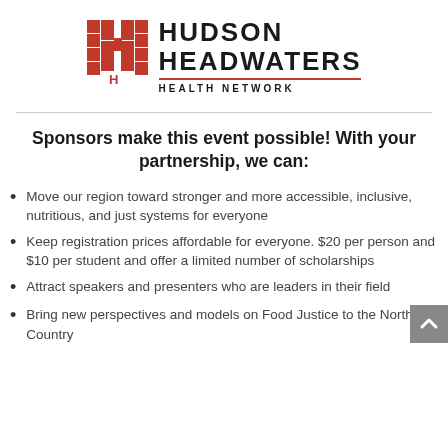[Figure (logo): Hudson Headwaters Health Network logo with red cross-like H symbol and bold dark text]
Sponsors make this event possible! With your partnership, we can:
Move our region toward stronger and more accessible, inclusive, nutritious, and just systems for everyone
Keep registration prices affordable for everyone. $20 per person and $10 per student and offer a limited number of scholarships
Attract speakers and presenters who are leaders in their field
Bring new perspectives and models on Food Justice to the North Country